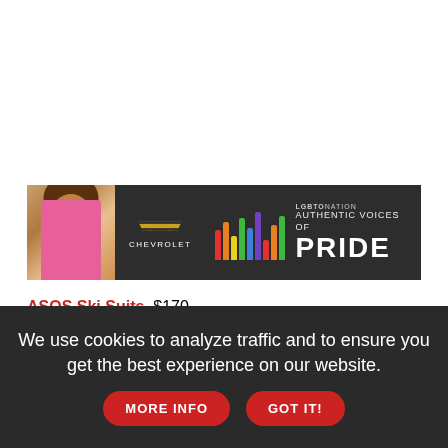[Figure (advertisement): Chevrolet x LGBTQ Nation 'Authentic Voices of Pride' banner ad with a person and rainbow bar chart graphic on dark background]
ASOS Ski Suits, $170
From streetwear to slopewear, ASOS's capsule collection is best for warmer conditions or hanging around the firepit.
We use cookies to analyze traffic and to ensure you get the best experience on our website. MORE INFO GOT IT!